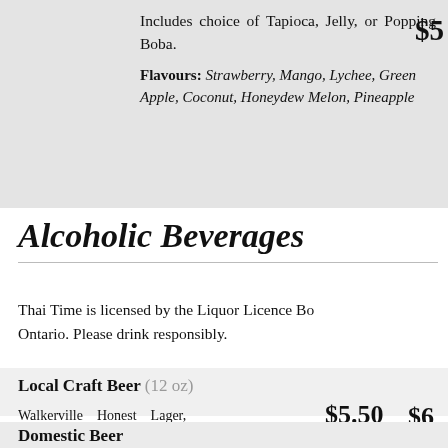Includes choice of Tapioca, Jelly, or Popping Boba.
Flavours: Strawberry, Mango, Lychee, Green Apple, Coconut, Honeydew Melon, Pineapple
Alcoholic Beverages
Thai Time is licensed by the Liquor Licence Board of Ontario. Please drink responsibly.
Local Craft Beer (12 oz) Walkerville Honest Lager, Walkerville Argyle Apple Cider, on tap. (Visit Walkerville Brewery for more info.)
$5.50 Lager
Domestic Beer